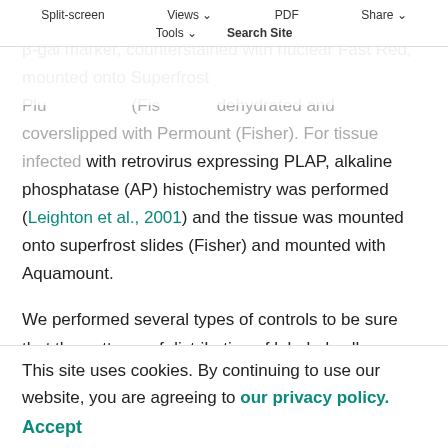Split-screen   Views   PDF   Share   Tools   Search Site
then processed for X-gal histochemistry to detect the β-gal marker, counterstained with nuclear Fast Red, mounted onto Superfrost Plus (Fisher), dehydrated and coverslipped with Permount (Fisher). For tissue infected with retrovirus expressing PLAP, alkaline phosphatase (AP) histochemistry was performed (Leighton et al., 2001) and the tissue was mounted onto superfrost slides (Fisher) and mounted with Aquamount.
We performed several types of controls to be sure that the patterns of distribution of labeled cells represent true migration rather than artefact. Retroviral particles lose infectivity within hours at 37°C and therefore continued
This site uses cookies. By continuing to use our website, you are agreeing to our privacy policy.
Accept
However, to rule out this scenario further, we incubated